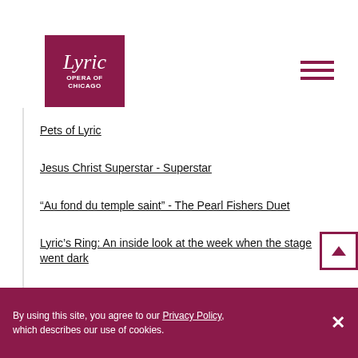[Figure (logo): Lyric Opera of Chicago logo — dark magenta/maroon square with 'Lyric' in italic serif and 'OPERA OF CHICAGO' in bold sans-serif, all in white]
[Figure (other): Hamburger menu icon (three horizontal lines) in dark magenta]
Pets of Lyric
Jesus Christ Superstar - Superstar
“Au fond du temple saint” - The Pearl Fishers Duet
Lyric’s Ring: An inside look at the week when the stage went dark
Directing the Ring
By using this site, you agree to our Privacy Policy, which describes our use of cookies.